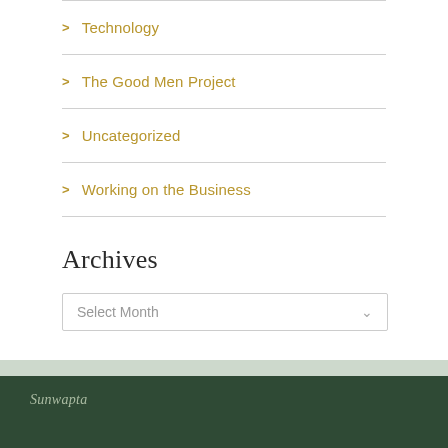> Technology
> The Good Men Project
> Uncategorized
> Working on the Business
Archives
Select Month
Sunwapta